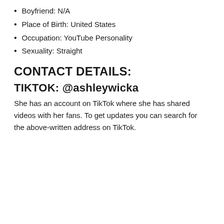Boyfriend: N/A
Place of Birth: United States
Occupation: YouTube Personality
Sexuality: Straight
CONTACT DETAILS:
TIKTOK: @ashleywicka
She has an account on TikTok where she has shared videos with her fans. To get updates you can search for the above-written address on TikTok.